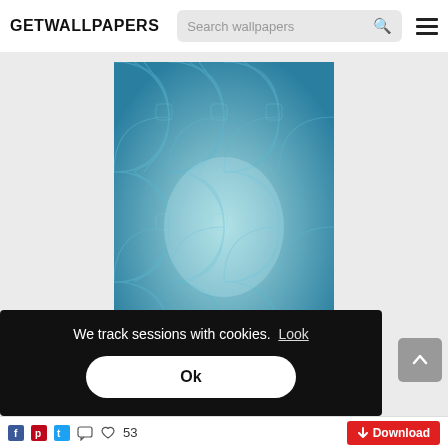GETWALLPAPERS
[Figure (screenshot): A teal/blue swirling wave pattern wallpaper displayed in the center of the page on a light gray background]
We track sessions with cookies.  Look
Ok
[Figure (other): Scroll-to-top button (gray rounded square with up arrow)]
53
Download